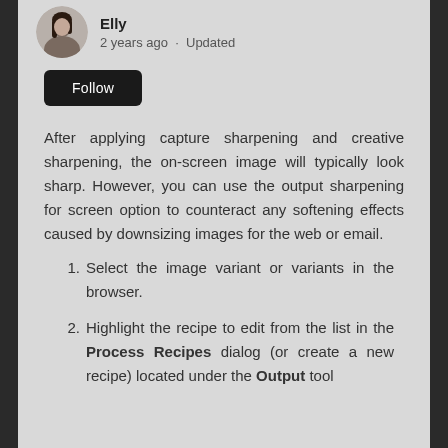Elly · 2 years ago · Updated
Follow
After applying capture sharpening and creative sharpening, the on-screen image will typically look sharp. However, you can use the output sharpening for screen option to counteract any softening effects caused by downsizing images for the web or email.
Select the image variant or variants in the browser.
Highlight the recipe to edit from the list in the Process Recipes dialog (or create a new recipe) located under the Output tool